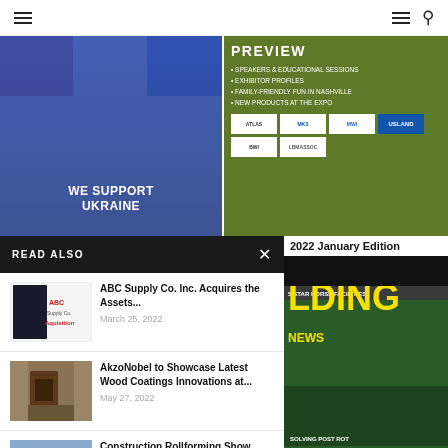Navigation bar with hamburger menu and search icon
[Figure (photo): Blue background image with text WE SUPPORT UKRAINE]
[Figure (photo): Green advertisement preview with text PREVIEW, SPEAKERS & EDUCATIONAL SESSIONS, EXHIBITOR PROFILES, FAMILY-FRIENDLY FUN IN NASHVILLE, NEW PRODUCTS AT THE EXPO, with sponsor logos]
READ ALSO
[Figure (photo): ABC Supply Co. article thumbnail showing ABC Supply Co. Inc. Aquisition logo]
ABC Supply Co. Inc. Acquires the Assets...
March 25, 2022
[Figure (photo): AkzoNobel article thumbnail showing wood door and wall coatings]
AkzoNobel to Showcase Latest Wood Coatings Innovations at...
May 27, 2022
[Figure (photo): Construction Rollforming Show thumbnail showing crowd at trade show]
Construction Rollforming Show
August 26, 2022
2022 January Edition
[Figure (photo): Magazine cover with yellow LDING NEWS title text on dark green background, showing 5-STAR HORSE FACILITIES, SOLVING POST ROT, HEALTHY VENTILATION SYSTEMS FOR ANIMALS]